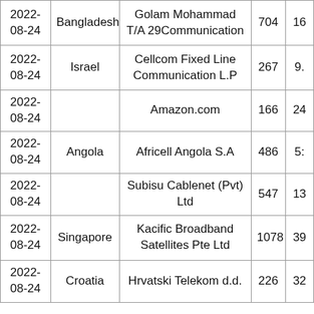| Date | Country | Organization | Col4 | Col5 |
| --- | --- | --- | --- | --- |
| 2022-08-24 | Bangladesh | Golam Mohammad T/A 29Communication | 704 | 16 |
| 2022-08-24 | Israel | Cellcom Fixed Line Communication L.P | 267 | 9. |
| 2022-08-24 |  | Amazon.com | 166 | 24 |
| 2022-08-24 | Angola | Africell Angola S.A | 486 | 5: |
| 2022-08-24 |  | Subisu Cablenet (Pvt) Ltd | 547 | 13 |
| 2022-08-24 | Singapore | Kacific Broadband Satellites Pte Ltd | 1078 | 39 |
| 2022-08-24 | Croatia | Hrvatski Telekom d.d. | 226 | 32 |